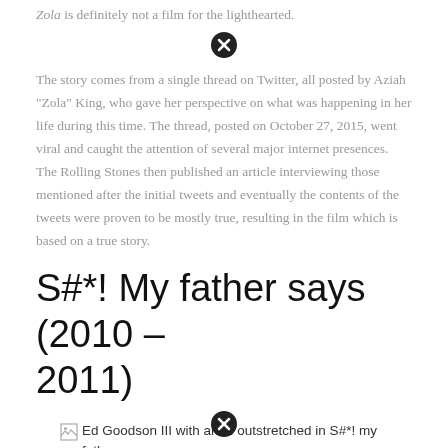Zola is definitely not a film for the lighthearted.
[Figure (other): Close/X button circle icon]
The story comes from a single thread on Twitter, all posted by Aziah "Zola" King, who gave her perspective on what was happening in her life during this time. The thread, posted on October 27, 2015, went viral and caught the attention of several major internet presences. The Rolling Stones then published an article interviewing those mentioned after the initial tweets and eventually the contents of the tweets were proven to be mostly true, resulting in the film which is based on a true story.
S#*! My father says (2010 – 2011)
[Figure (photo): Ed Goodson III with arms outstretched in S#*! my father says]
[Figure (other): Close/X button circle icon at bottom]